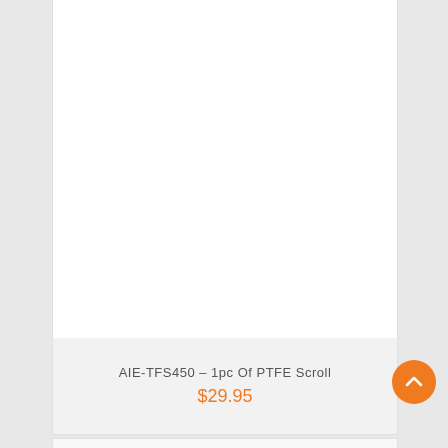[Figure (photo): White product image area (empty/blank white space for product photo)]
AIE-TFS450 – 1pc Of PTFE Scroll
$29.95
[Figure (other): Back-to-top navigation button, orange circle with upward chevron arrow]